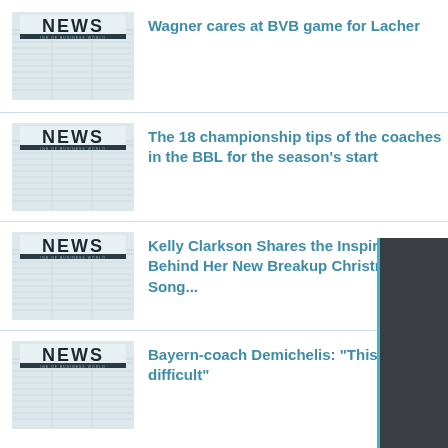[Figure (photo): NEWS newspaper thumbnail image 1]
Wagner cares at BVB game for Lacher
[Figure (photo): NEWS newspaper thumbnail image 2]
The 18 championship tips of the coaches in the BBL for the season's start
[Figure (photo): NEWS newspaper thumbnail image 3]
Kelly Clarkson Shares the Inspiration Behind Her New Breakup Christmas Song...
[Figure (photo): NEWS newspaper thumbnail image 4]
Bayern-coach Demichelis: "This is difficult"